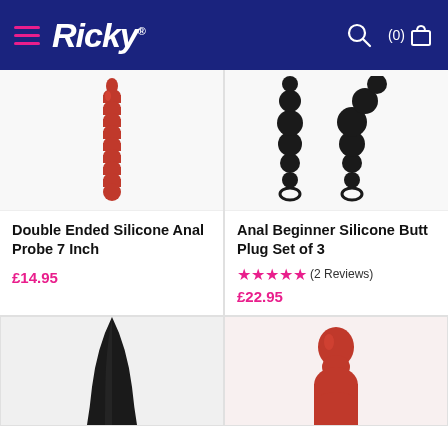Ricky (navigation header with hamburger menu, search icon, cart (0))
[Figure (photo): Red double ended silicone anal probe on white background]
[Figure (photo): Two black silicone anal bead sets on white background]
Double Ended Silicone Anal Probe 7 Inch
£14.95
Anal Beginner Silicone Butt Plug Set of 3
★★★★★ (2 Reviews)
£22.95
[Figure (photo): Black tapered silicone plug on light background, partial view]
[Figure (photo): Red silicone butt plug on light background, partial view]